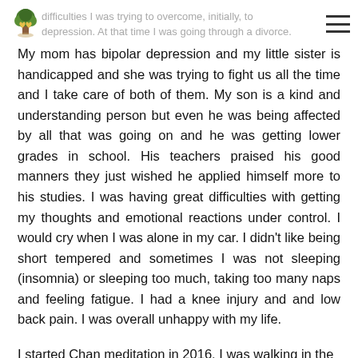difficulties I was trying to overcome, initially, to depression. At that time I was going through a divorce.
My mom has bipolar depression and my little sister is handicapped and she was trying to fight us all the time and I take care of both of them. My son is a kind and understanding person but even he was being affected by all that was going on and he was getting lower grades in school. His teachers praised his good manners they just wished he applied himself more to his studies. I was having great difficulties with getting my thoughts and emotional reactions under control. I would cry when I was alone in my car. I didn't like being short tempered and sometimes I was not sleeping (insomnia) or sleeping too much, taking too many naps and feeling fatigue. I had a knee injury and and low back pain. I was overall unhappy with my life.
I started Chan meditation in 2016. I was walking in the